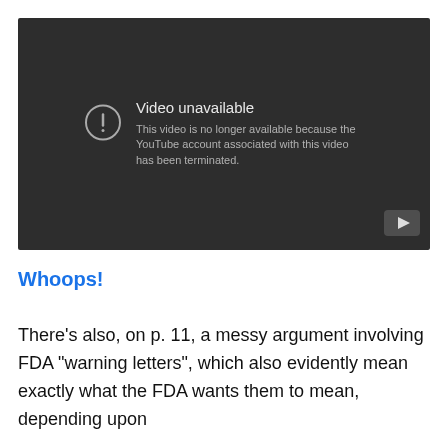[Figure (screenshot): YouTube video unavailable screen showing dark background with exclamation circle icon and message: 'Video unavailable — This video is no longer available because the YouTube account associated with this video has been terminated.' A play button icon appears in the bottom right corner.]
Whoops!
There’s also, on p. 11, a messy argument involving FDA “warning letters”, which also evidently mean exactly what the FDA wants them to mean, depending upon